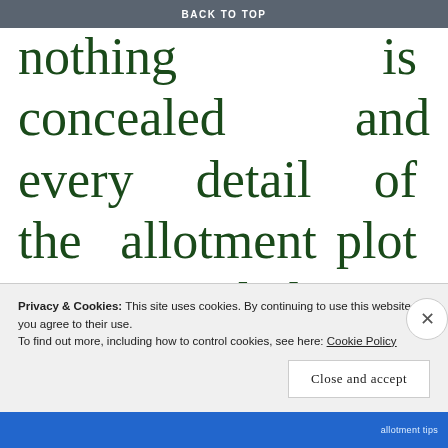BACK TO TOP
nothing is concealed and every detail of the allotment plot is revealed as once again we are invited to the annual show of pomp and pageantry wherein the garden displays its spring and summer efforts
Privacy & Cookies: This site uses cookies. By continuing to use this website, you agree to their use.
To find out more, including how to control cookies, see here: Cookie Policy
Close and accept